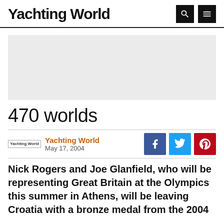Yachting World
[Figure (other): Advertisement placeholder — light grey rectangle]
470 worlds
Yachting World
May 17, 2004
Nick Rogers and Joe Glanfield, who will be representing Great Britain at the Olympics this summer in Athens, will be leaving Croatia with a bronze medal from the 2004